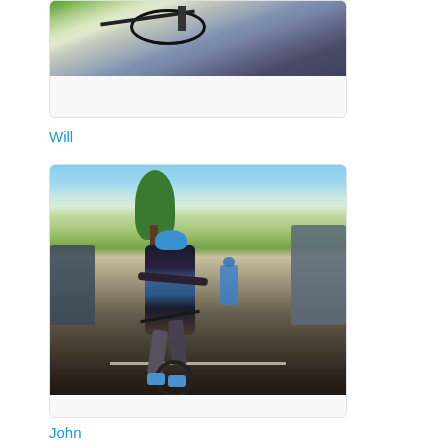[Figure (photo): Photo of a bicycle viewed from above, showing handlebars and front wheel, with trees and road visible, partially cropped at top of page]
Will
[Figure (photo): Photo of a cyclist wearing a blue helmet and dark cycling jersey, riding a road bike along a street with trees, other cyclists and vehicles visible in background]
John